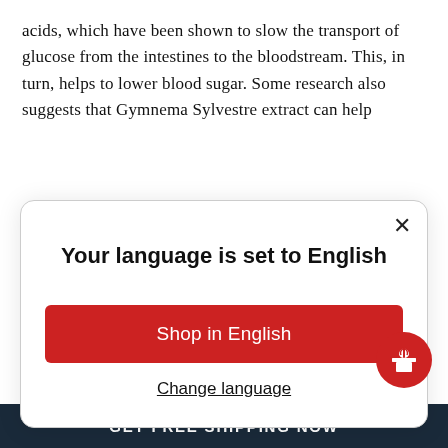acids, which have been shown to slow the transport of glucose from the intestines to the bloodstream. This, in turn, helps to lower blood sugar. Some research also suggests that Gymnema Sylvestre extract can help
[Figure (screenshot): Modal dialog popup with title 'Your language is set to English', a red 'Shop in English' button, and an underlined 'Change language' link. A close X button is in the top right corner.]
non-insulin-dependent diabetes.
American Ginseng: Several human studies sh
GET FREE SHIPPING NOW